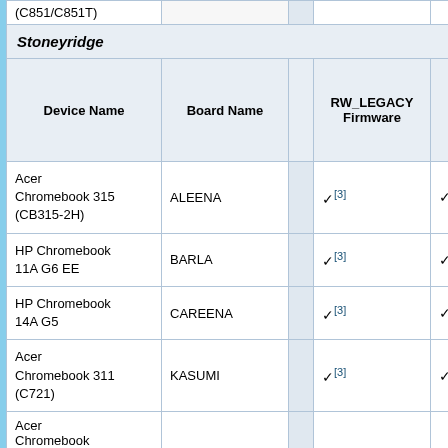| Device Name | Board Name |  | RW_LEGACY Firmware | UEFI Firmware (Full ROM) |
| --- | --- | --- | --- | --- |
| Chromebook 311
(C851/C851T) |  |  |  |  |
| Stoneyridge |  |  |  |  |
| Acer Chromebook 315 (CB315-2H) | ALEENA |  | ✓ [3] | ✓ |
| HP Chromebook 11A G6 EE | BARLA |  | ✓ [3] | ✓ |
| HP Chromebook 14A G5 | CAREENA |  | ✓ [3] | ✓ |
| Acer Chromebook 311 (C721) | KASUMI |  | ✓ [3] | ✓ |
| Acer Chromebook... |  |  |  |  |